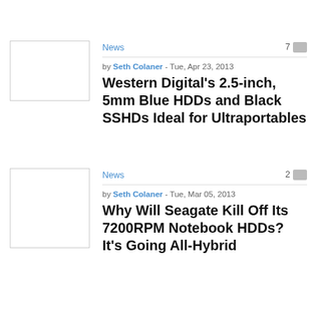News
7
[Figure (photo): Thumbnail image placeholder for first article]
by Seth Colaner - Tue, Apr 23, 2013
Western Digital's 2.5-inch, 5mm Blue HDDs and Black SSHDs Ideal for Ultraportables
News
2
[Figure (photo): Thumbnail image placeholder for second article]
by Seth Colaner - Tue, Mar 05, 2013
Why Will Seagate Kill Off Its 7200RPM Notebook HDDs? It's Going All-Hybrid